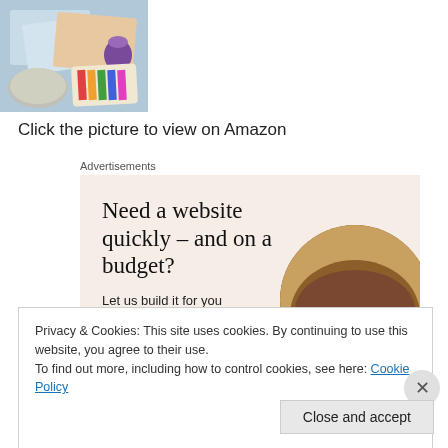[Figure (photo): Product image of art/craft supplies including watercolor papers and painting materials, shown in top-left corner of page]
Click the picture to view on Amazon
Advertisements
[Figure (infographic): Advertisement banner with beige background. Headline: 'Need a website quickly – and on a budget?' Subtext: 'Let us build it for you'. Button: 'Let's get started'. Right side shows circular image of person's hands.]
Privacy & Cookies: This site uses cookies. By continuing to use this website, you agree to their use.
To find out more, including how to control cookies, see here: Cookie Policy
Close and accept